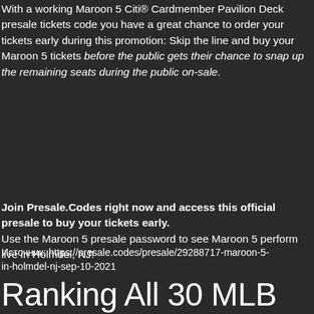With a working Maroon 5 Citi® Cardmember Pavilion Deck presale tickets code you have a great chance to order your tickets early during this promotion: Skip the line and buy your Maroon 5 tickets before the public gets their chance to snap up the remaining seats during the public on-sale.
Join Presale.Codes right now and access this official presale to buy your tickets early. Use the Maroon 5 presale password to see Maroon 5 perform live in Holmdel, NJ!
Источник: https://presale.codes/presale/29288717-maroon-5-in-holmdel-nj-sep-10-2021
Ranking All 30 MLB